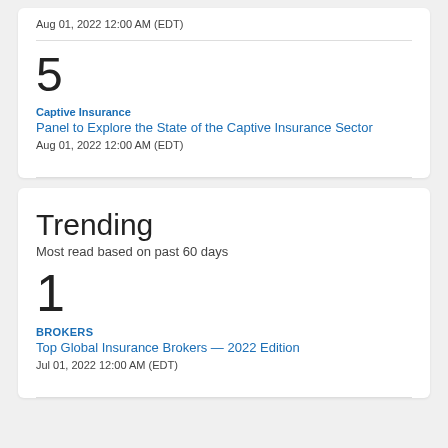Aug 01, 2022 12:00 AM (EDT)
5 | Captive Insurance | Panel to Explore the State of the Captive Insurance Sector | Aug 01, 2022 12:00 AM (EDT)
Trending
Most read based on past 60 days
1 | BROKERS | Top Global Insurance Brokers — 2022 Edition | Jul 01, 2022 12:00 AM (EDT)